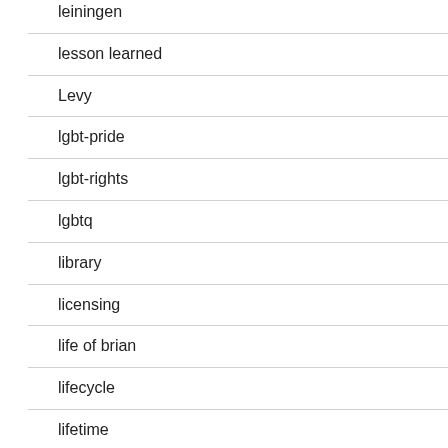leiningen
lesson learned
Levy
lgbt-pride
lgbt-rights
lgbtq
library
licensing
life of brian
lifecycle
lifetime